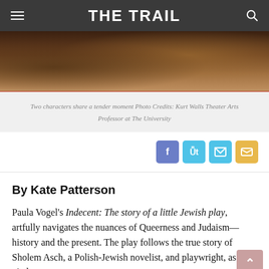THE TRAIL
[Figure (photo): Two characters share a tender moment on stage, partially visible photo strip]
Two characters share a tender moment Photo Credits: Kurt Walls Theater Arts Professor at The University
By Kate Patterson
Paula Vogel's Indecent: The story of a little Jewish play, artfully navigates the nuances of Queerness and Judaism—history and the present. The play follows the true story of Sholem Asch, a Polish-Jewish novelist, and playwright, as he pitches,